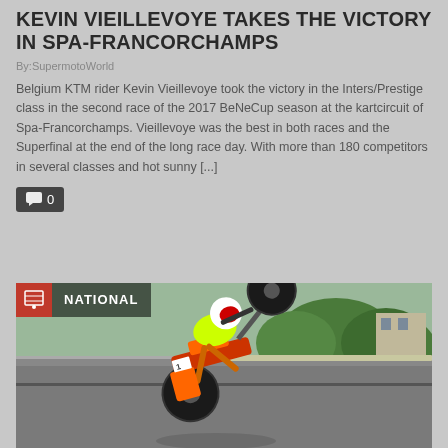KEVIN VIEILLEVOYE TAKES THE VICTORY IN SPA-FRANCORCHAMPS
By:SupermotoWorld
Belgium KTM rider Kevin Vieillevoye took the victory in the Inters/Prestige class in the second race of the 2017 BeNeCup season at the kartcircuit of Spa-Francorchamps. Vieillevoye was the best in both races and the Superfinal at the end of the long race day. With more than 180 competitors in several classes and hot sunny [...]
0
[Figure (photo): Motorcycle racer performing a stunt or racing on a track circuit, tagged with NATIONAL category badge]